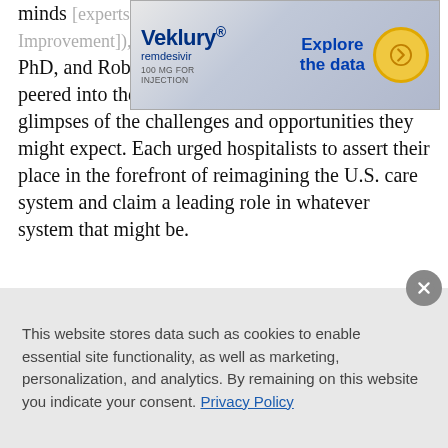minds of [experts including Peter Pronovost MD] of the Institute [for Healthcare Improvement]), healthcare futurist Ian Morrison, PhD, and Robert Wachter, MD, each of whom peered into their crystal balls to give hospitalists glimpses of the challenges and opportunities they might expect. Each urged hospitalists to assert their place in the forefront of reimagining the U.S. care system and claim a leading role in whatever system that might be.
[Figure (other): Veklury (remdesivir) advertisement banner with 'Explore the data' call to action and arrow button]
HM09 in Chicago
SHM's Hospital Medicine 2009 meeting TAKES PLACE IN MID-MAY in downtown Chic...
This website stores data such as cookies to enable essential site functionality, as well as marketing, personalization, and analytics. By remaining on this website you indicate your consent. Privacy Policy